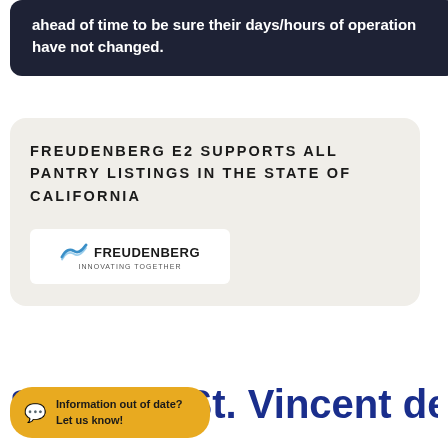ahead of time to be sure their days/hours of operation have not changed.
FREUDENBERG E2 SUPPORTS ALL PANTRY LISTINGS IN THE STATE OF CALIFORNIA
[Figure (logo): Freudenberg logo with wave mark and tagline 'INNOVATING TOGETHER']
Back to All Pantries
St. Clare-St. Vincent de Paul
Information out of date? Let us know!